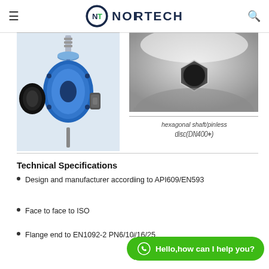NORTECH
[Figure (engineering-diagram): Exploded view of a butterfly valve showing blue valve body, black disc, cylindrical pin, and spring/stem components]
[Figure (engineering-diagram): Close-up photo of hexagonal shaft socket in valve disc (DN400+)]
hexagonal shaft/pinless disc(DN400+)
Technical Specifications
Design and manufacturer according to API609/EN593
Face to face to ISO
Flange end to EN1092-2 PN6/10/16/25